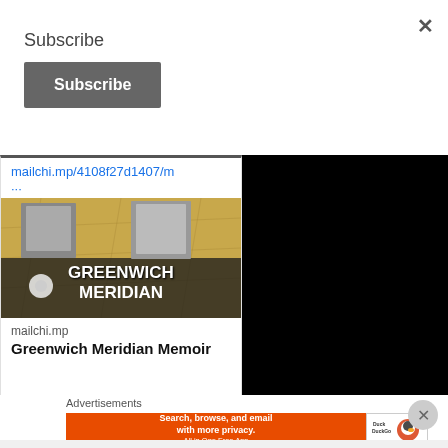Subscribe
Subscribe (button)
mailchi.mp/4108f27d1407/m
...
[Figure (illustration): Book cover image for Greenwich Meridian Memoir showing historical map background with black and white photographs and bold white text reading GREENWICH MERIDIAN]
mailchi.mp
Greenwich Meridian Memoir
Advertisements
[Figure (screenshot): DuckDuckGo advertisement banner: Search, browse, and email with more privacy. All in One Free App - with DuckDuckGo logo on orange background]